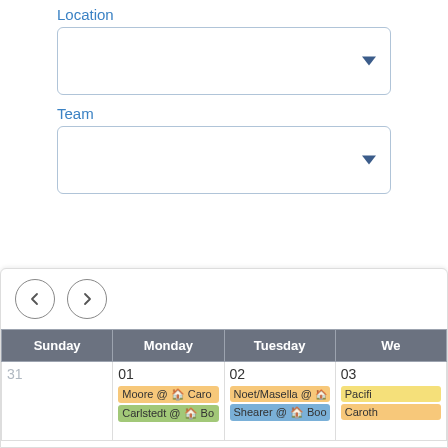Location
[Figure (screenshot): Location dropdown input box with blue border and dropdown arrow]
Team
[Figure (screenshot): Team dropdown input box with blue border and dropdown arrow]
[Figure (screenshot): Calendar week view with navigation arrows, showing Sunday, Monday, Tuesday, Wednesday columns. Days 31(grey), 01, 02, 03. Events: Moore @ Caro..., Carlstedt @ Bo..., Noet/Masella @ ..., Shearer @ Boo..., Pacific..., Caroth...]